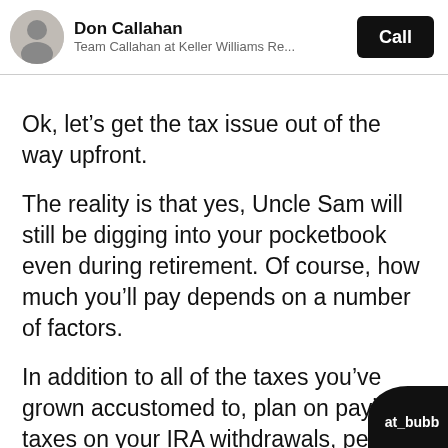Don Callahan | Team Callahan at Keller Williams Re... | Call
Ok, let’s get the tax issue out of the way upfront.
The reality is that yes, Uncle Sam will still be digging into your pocketbook even during retirement. Of course, how much you’ll pay depends on a number of factors.
In addition to all of the taxes you’ve grown accustomed to, plan on paying taxes on your IRA withdrawals, pension income and annuity distributions.
If you have income other than social security, yo